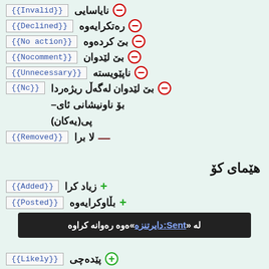⊖ ناياسايى {{Invalid}}
⊖ رەتكرايەوە {{Declined}}
⊖ بێ كردەوە {{No action}}
⊖ بێ لێدوان {{Nocomment}}
⊖ ناپێويسته {{Unnecessary}}
⊖ بێ لێدوان لەگەڵ ريژەردا بۆ ناونيشانى ئاى-پى(يەكان) {{Nc}}
— لا برا {{Removed}}
هێمای کۆ
+ زياد كرا {{Added}}
+ بڵاوكرايەوە {{Posted}}
لە «Sent:دايرتنزه»ەوە رەوانە كراوە
⊕ پێدەچى {{Likely}}